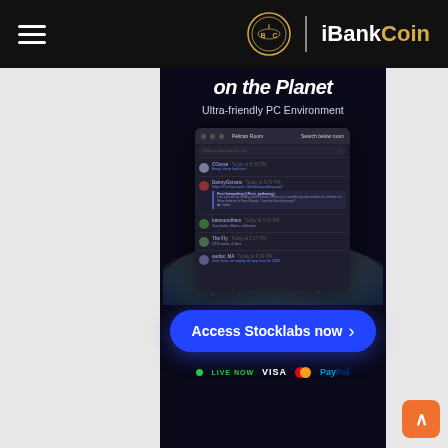iBankCoin
on the Planet
Ultra-friendly PC Environment
[Figure (screenshot): App screenshot of Pelican Room chat interface showing dark-themed messaging window with chat messages from users COurse, DannyGervais, bamsundhem, The Fly, and audax_MA, floating above a planet Earth background]
Access Stocklabs now
LIVE NOW   VISA   Mastercard   PayPal